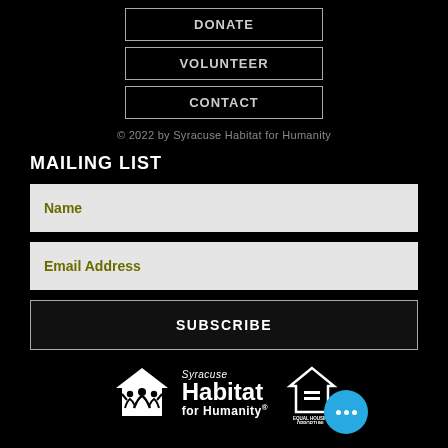DONATE
VOLUNTEER
CONTACT
© 2022 by Syracuse Habitat for Humanity
MAILING LIST
Name
Email Address
SUBSCRIBE
[Figure (logo): Syracuse Habitat for Humanity logo with house/people icon, Equal Housing Opportunity logo, and blue chat bubble with ellipsis]